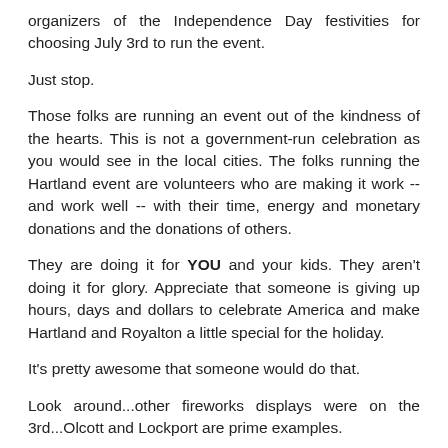organizers of the Independence Day festivities for choosing July 3rd to run the event.
Just stop.
Those folks are running an event out of the kindness of the hearts. This is not a government-run celebration as you would see in the local cities. The folks running the Hartland event are volunteers who are making it work -- and work well -- with their time, energy and monetary donations and the donations of others.
They are doing it for YOU and your kids. They aren't doing it for glory. Appreciate that someone is giving up hours, days and dollars to celebrate America and make Hartland and Royalton a little special for the holiday.
It's pretty awesome that someone would do that.
Look around...other fireworks displays were on the 3rd...Olcott and Lockport are prime examples.